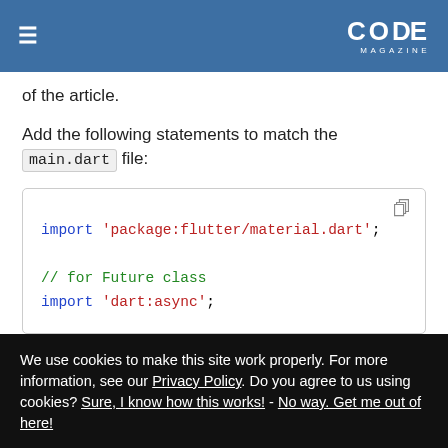≡  CODE MAGAZINE
of the article.
Add the following statements to match the main.dart file:
[Figure (screenshot): Code block showing: import 'package:flutter/material.dart'; // for Future class import 'dart:async';]
We use cookies to make this site work properly. For more information, see our Privacy Policy. Do you agree to us using cookies? Sure, I know how this works! - No way. Get me out of here!